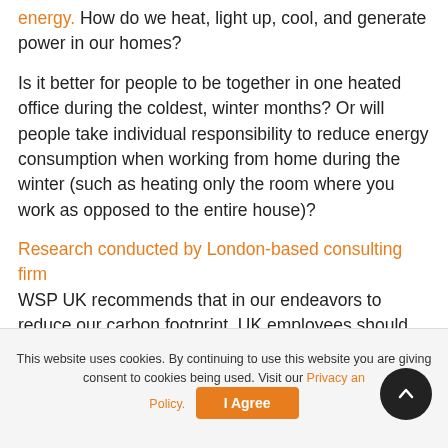energy. How do we heat, light up, cool, and generate power in our homes?
Is it better for people to be together in one heated office during the coldest, winter months? Or will people take individual responsibility to reduce energy consumption when working from home during the winter (such as heating only the room where you work as opposed to the entire house)?
Research conducted by London-based consulting firm WSP UK recommends that in our endeavors to reduce our carbon footprint, UK employees should consider working from home more in the warmer months.
This website uses cookies. By continuing to use this website you are giving consent to cookies being used. Visit our Privacy and Cookie Policy. I Agree